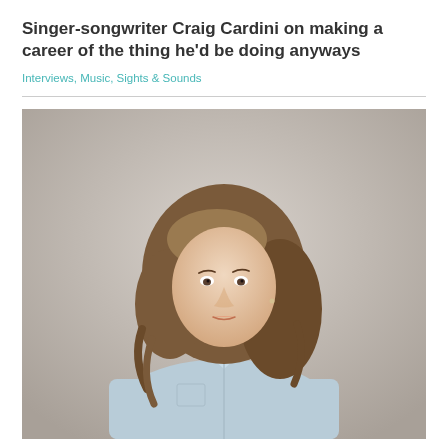Singer-songwriter Craig Cardini on making a career of the thing he'd be doing anyways
Interviews, Music, Sights & Sounds
[Figure (photo): Portrait photo of a woman with long wavy brown hair wearing a light denim shirt, photographed against a light grey background, looking slightly upward]